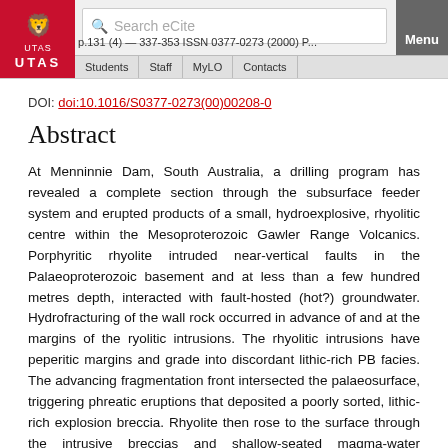UTAS eCite — Search eCite — Menu — Students | Staff | MyLO | Contacts
DOI: doi:10.1016/S0377-0273(00)00208-0
Abstract
At Menninnie Dam, South Australia, a drilling program has revealed a complete section through the subsurface feeder system and erupted products of a small, hydroexplosive, rhyolitic centre within the Mesoproterozoic Gawler Range Volcanics. Porphyritic rhyolite intruded near-vertical faults in the Palaeoproterozoic basement and at less than a few hundred metres depth, interacted with fault-hosted (hot?) groundwater. Hydrofracturing of the wall rock occurred in advance of and at the margins of the ryolitic intrusions. The rhyolitic intrusions have peperitic margins and grade into discordant lithic-rich PB facies. The advancing fragmentation front intersected the palaeosurface, triggering phreatic eruptions that deposited a poorly sorted, lithic-rich explosion breccia. Rhyolite then rose to the surface through the intrusive breccias and shallow-seated magma-water interaction occurred in the conduit within<50 m of